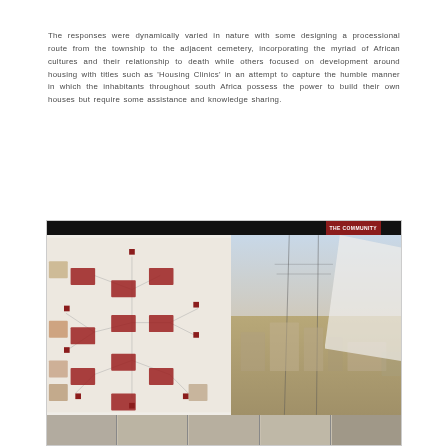The responses were dynamically varied in nature with some designing a processional route from the township to the adjacent cemetery, incorporating the myriad of African cultures and their relationship to death while others focused on development around housing with titles such as 'Housing Clinics' in an attempt to capture the humble manner in which the inhabitants throughout south Africa possess the power to build their own houses but require some assistance and knowledge sharing.
[Figure (infographic): A composite design board labeled 'THE COMMUNITY' with a dark top bar. The left half shows a network/mind-map diagram with red rectangular nodes connected by lines on a light background. The right half shows a photograph of structures in what appears to be a South African township setting with sky and ground visible. A white perspective-skewed overlay panel overlaps the two halves. The bottom strip shows a row of smaller photographic images.]